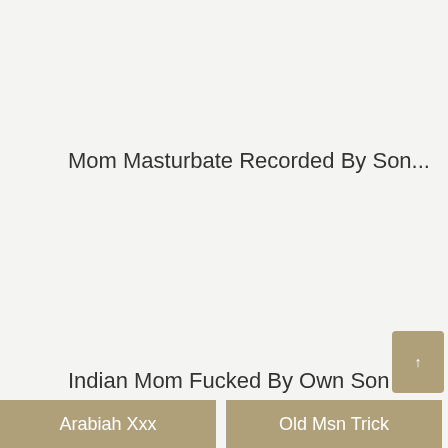Mom Masturbate Recorded By Son...
Indian Mom Fucked By Own Son Fu...
See also:
Arabiah Xxx
Old Msn Trick